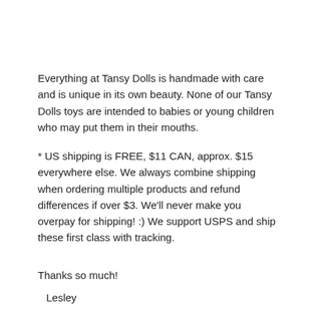Everything at Tansy Dolls is handmade with care and is unique in its own beauty. None of our Tansy Dolls toys are intended to babies or young children who may put them in their mouths.
* US shipping is FREE, $11 CAN, approx. $15 everywhere else. We always combine shipping when ordering multiple products and refund differences if over $3. We'll never make you overpay for shipping! :) We support USPS and ship these first class with tracking.
Thanks so much!
Lesley
Copyright © 2020 Tansy Dolls